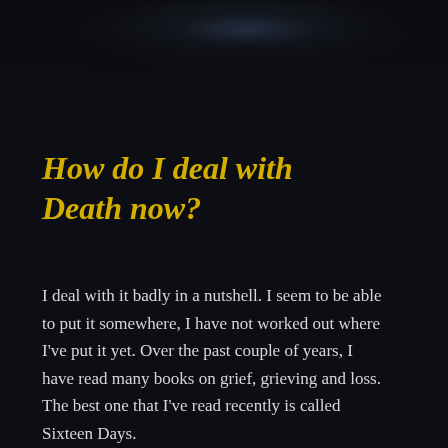[Figure (photo): Dark atmospheric background photo at the top of the page, showing a blurred blue-black sky or night scene.]
How do I deal with Death now?
I deal with it badly in a nutshell. I seem to be able to put it somewhere, I have not worked out where I've put it yet. Over the past couple of years, I have read many books on grief, grieving and loss. The best one that I've read recently is called Sixteen Days.